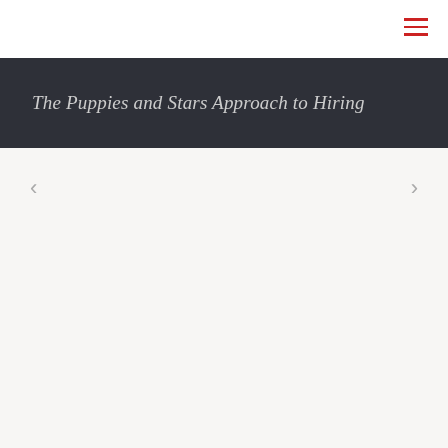The Puppies and Stars Approach to Hiring
[Figure (other): Navigation arrows: left chevron '<' on the left side and right chevron '>' on the right side, indicating slideshow navigation controls]